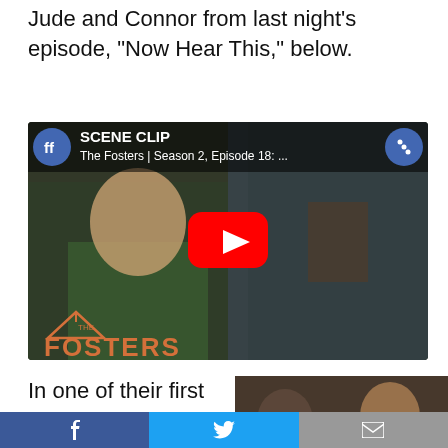Jude and Connor from last night's episode, "Now Hear This," below.
[Figure (screenshot): YouTube video thumbnail showing The Fosters Season 2 Episode 18 scene clip with a boy in a green shirt, YouTube play button overlay, and The Fosters logo in the bottom left. Social sharing icons (ff) appear as blue circles top left and right.]
In one of their first scenes together, the boys bond when
[Figure (photo): Photo thumbnail of two boys from The Fosters TV show]
f  [Twitter bird]  [Mail envelope]